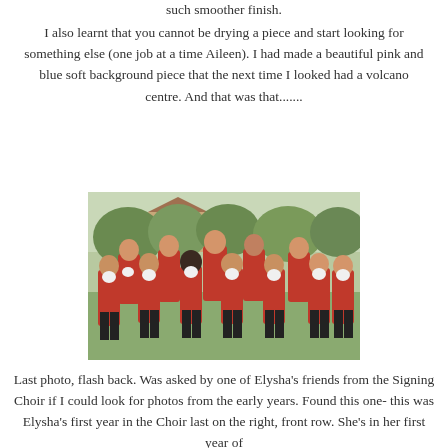such smoother finish.
I also learnt that you cannot be drying a piece and start looking for something else (one job at a time Aileen). I had made a beautiful pink and blue soft background piece that the next time I looked had a volcano centre. And that was that.......
[Figure (photo): Group photo of children wearing red jackets and black pants, standing outdoors with trees and a building in the background. The children are raising their hands showing white gloves.]
Last photo, flash back. Was asked by one of Elysha's friends from the Signing Choir if I could look for photos from the early years. Found this one- this was Elysha's first year in the Choir last on the right, front row. She's in her first year of